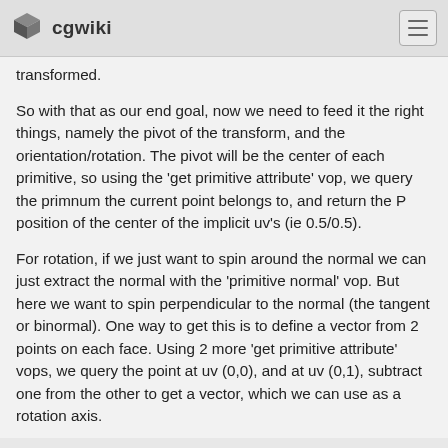cgwiki
transformed.
So with that as our end goal, now we need to feed it the right things, namely the pivot of the transform, and the orientation/rotation. The pivot will be the center of each primitive, so using the 'get primitive attribute' vop, we query the primnum the current point belongs to, and return the P position of the center of the implicit uv's (ie 0.5/0.5).
For rotation, if we just want to spin around the normal we can just extract the normal with the 'primitive normal' vop. But here we want to spin perpendicular to the normal (the tangent or binormal). One way to get this is to define a vector from 2 points on each face. Using 2 more 'get primitive attribute' vops, we query the point at uv (0,0), and at uv (0,1), subtract one from the other to get a vector, which we can use as a rotation axis.